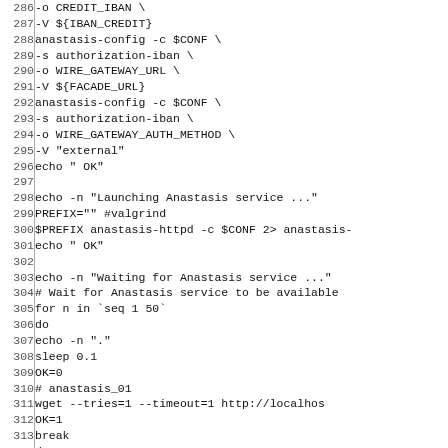Code listing lines 286-315 showing shell script for Anastasis service configuration and startup